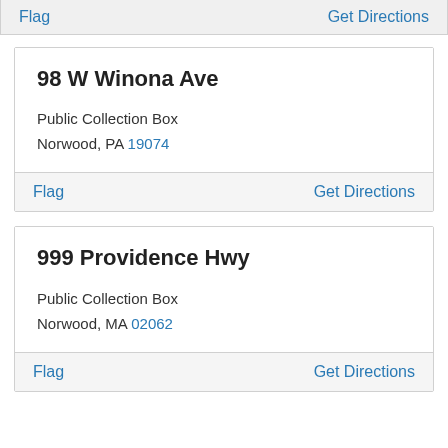Flag | Get Directions
98 W Winona Ave
Public Collection Box
Norwood, PA 19074
Flag | Get Directions
999 Providence Hwy
Public Collection Box
Norwood, MA 02062
Flag | Get Directions